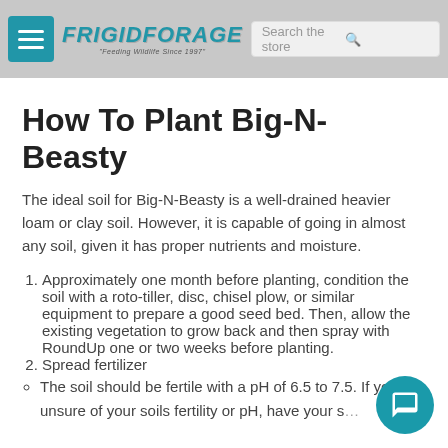Frigid Forage — navigation bar with hamburger menu, logo, and search field
How To Plant Big-N-Beasty
The ideal soil for Big-N-Beasty is a well-drained heavier loam or clay soil. However, it is capable of going in almost any soil, given it has proper nutrients and moisture.
1. Approximately one month before planting, condition the soil with a roto-tiller, disc, chisel plow, or similar equipment to prepare a good seed bed. Then, allow the existing vegetation to grow back and then spray with RoundUp one or two weeks before planting.
2. Spread fertilizer
• The soil should be fertile with a pH of 6.5 to 7.5. If you are unsure of your soils fertility or pH, have your soil tested at a local lab for proper fertilizer recommendations.